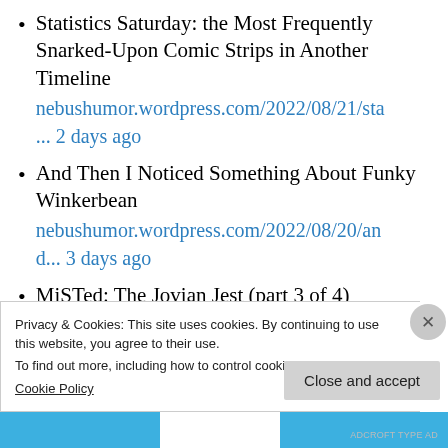Statistics Saturday: the Most Frequently Snarked-Upon Comic Strips in Another Timeline
nebushumor.wordpress.com/2022/08/21/sta... 2 days ago
And Then I Noticed Something About Funky Winkerbean
nebushumor.wordpress.com/2022/08/20/and... 3 days ago
MiSTed: The Jovian Jest (part 3 of 4)
Privacy & Cookies: This site uses cookies. By continuing to use this website, you agree to their use.
To find out more, including how to control cookies, see here: Cookie Policy
Close and accept